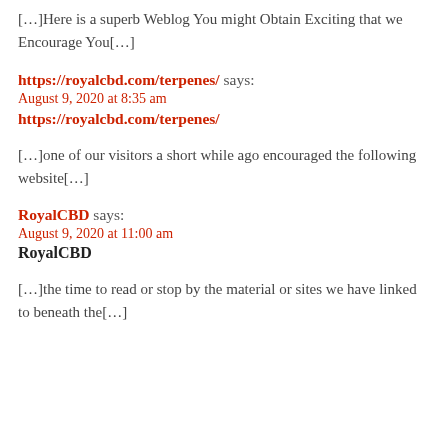[…]Here is a superb Weblog You might Obtain Exciting that we Encourage You[…]
https://royalcbd.com/terpenes/ says:
August 9, 2020 at 8:35 am
https://royalcbd.com/terpenes/
[…]one of our visitors a short while ago encouraged the following website[…]
RoyalCBD says:
August 9, 2020 at 11:00 am
RoyalCBD
[…]the time to read or stop by the material or sites we have linked to beneath the[…]